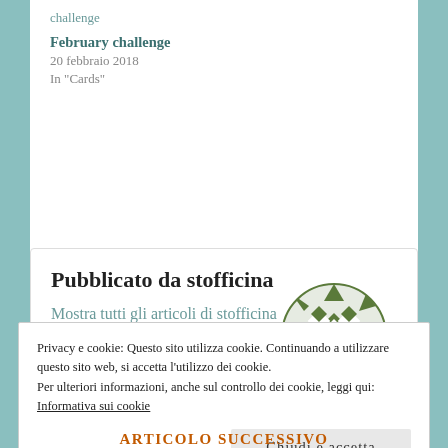challenge
February challenge
20 febbraio 2018
In "Cards"
Pubblicato da stofficina
Mostra tutti gli articoli di stofficina
[Figure (logo): Green quilt pattern circular logo for stofficina]
Privacy e cookie: Questo sito utilizza cookie. Continuando a utilizzare questo sito web, si accetta l'utilizzo dei cookie.
Per ulteriori informazioni, anche sul controllo dei cookie, leggi qui:
Informativa sui cookie
Chiudi e accetta
ARTICOLO SUCCESSIVO